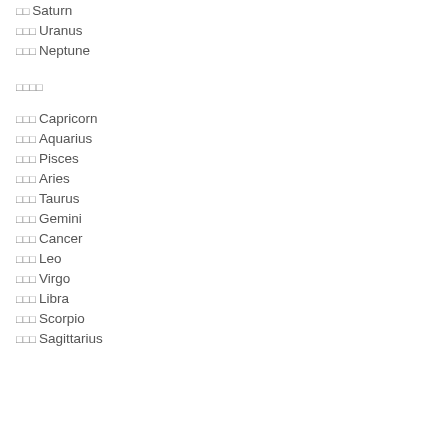♄♄ Saturn
♅♅♅ Uranus
♆♆♆ Neptune
♈♉♊♋
♑♑♑ Capricorn
♒♒♒ Aquarius
♓♓♓ Pisces
♈♈♈ Aries
♉♉♉ Taurus
♊♊♊ Gemini
♋♋♋ Cancer
♌♌♌ Leo
♍♍♍ Virgo
♎♎♎ Libra
♏♏♏ Scorpio
♐♐♐ Sagittarius